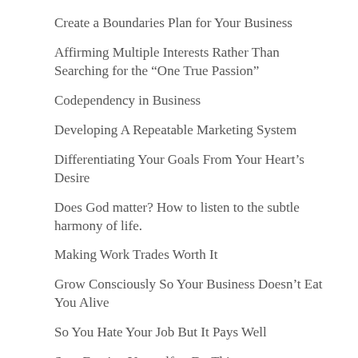Create a Boundaries Plan for Your Business
Affirming Multiple Interests Rather Than Searching for the “One True Passion”
Codependency in Business
Developing A Repeatable Marketing System
Differentiating Your Goals From Your Heart’s Desire
Does God matter? How to listen to the subtle harmony of life.
Making Work Trades Worth It
Grow Consciously So Your Business Doesn’t Eat You Alive
So You Hate Your Job But It Pays Well
Stop Forcing Yourself to Do Things
The Art of Deep Transition